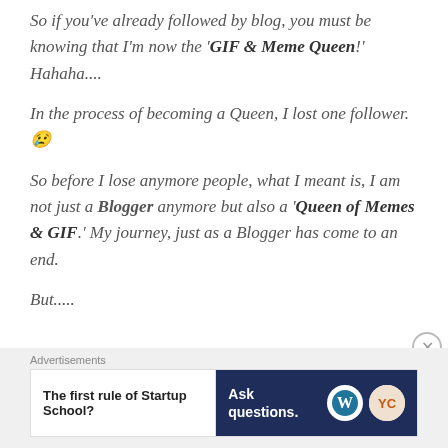So if you've already followed by blog, you must be knowing that I'm now the 'GIF & Meme Queen!' Hahaha....
In the process of becoming a Queen, I lost one follower.😢
So before I lose anymore people, what I meant is, I am not just a Blogger anymore but also a 'Queen of Memes & GIF.' My journey, just as a Blogger has come to an end.
But.....
[Figure (other): Advertisement banner with label 'Advertisements'. Left side white background: 'The first rule of Startup School?' Right side dark navy background: 'Ask questions.' with WordPress and Y Combinator logos. Close button (X in circle) top right.]